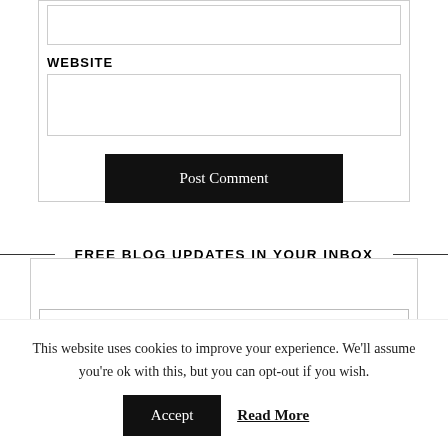[input box - top]
WEBSITE
[website input box]
Post Comment
FREE BLOG UPDATES IN YOUR INBOX
email address
This website uses cookies to improve your experience. We'll assume you're ok with this, but you can opt-out if you wish.
Accept
Read More